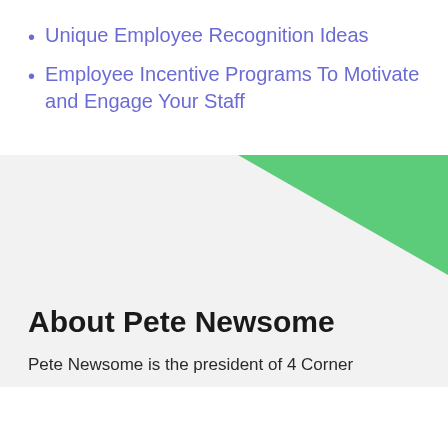Unique Employee Recognition Ideas
Employee Incentive Programs To Motivate and Engage Your Staff
[Figure (illustration): Green downward-pointing triangle decorative element in top-right corner of gray section]
About Pete Newsome
Pete Newsome is the president of 4 Corner